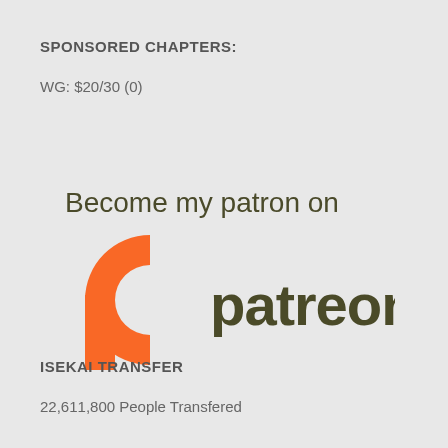SPONSORED CHAPTERS:
WG: $20/30 (0)
[Figure (logo): Patreon logo with text 'Become my patron on patreon' and the Patreon orange P icon]
ISEKAI TRANSFER
22,611,800 People Transfered